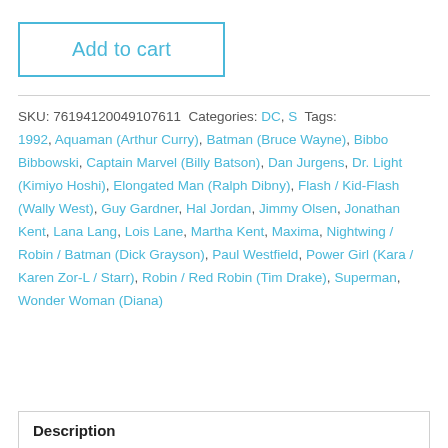Add to cart
SKU: 76194120049107611 Categories: DC, S Tags: 1992, Aquaman (Arthur Curry), Batman (Bruce Wayne), Bibbo Bibbowski, Captain Marvel (Billy Batson), Dan Jurgens, Dr. Light (Kimiyo Hoshi), Elongated Man (Ralph Dibny), Flash / Kid-Flash (Wally West), Guy Gardner, Hal Jordan, Jimmy Olsen, Jonathan Kent, Lana Lang, Lois Lane, Martha Kent, Maxima, Nightwing / Robin / Batman (Dick Grayson), Paul Westfield, Power Girl (Kara / Karen Zor-L / Starr), Robin / Red Robin (Tim Drake), Superman, Wonder Woman (Diana)
Description